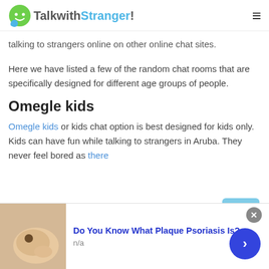TalkwithStranger!
talking to strangers online on other online chat sites.
Here we have listed a few of the random chat rooms that are specifically designed for different age groups of people.
Omegle kids
Omegle kids or kids chat option is best designed for kids only. Kids can have fun while talking to strangers in Aruba. They never feel bored as there
[Figure (screenshot): Advertisement banner: Do You Know What Plaque Psoriasis Is? with skin image and navigation arrow]